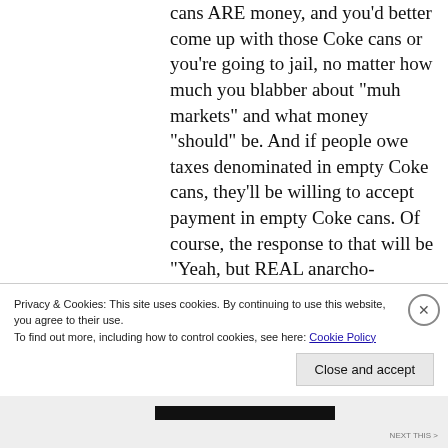cans ARE money, and you'd better come up with those Coke cans or you're going to jail, no matter how much you blabber about "muh markets" and what money "should" be. And if people owe taxes denominated in empty Coke cans, they'll be willing to accept payment in empty Coke cans. Of course, the response to that will be "Yeah, but REAL anarcho-capitalism
Privacy & Cookies: This site uses cookies. By continuing to use this website, you agree to their use.
To find out more, including how to control cookies, see here: Cookie Policy
Close and accept